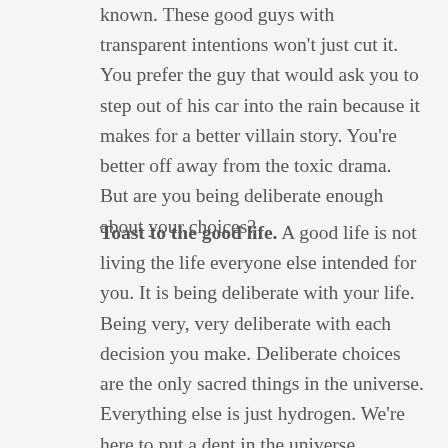known. These good guys with transparent intentions won't just cut it. You prefer the guy that would ask you to step out of his car into the rain because it makes for a better villain story. You're better off away from the toxic drama. But are you being deliberate enough about your choices?
Toast to the good life. A good life is not living the life everyone else intended for you. It is being deliberate with your life. Being very, very deliberate with each decision you make. Deliberate choices are the only sacred things in the universe. Everything else is just hydrogen. We're here to put a dent in the universe. Otherwise, why else even be here? Whilst we deliberate how to begin a thing, it grows too late to begin it. Good things happen to those who hustle. Gents, find yourself a good girl. Good girls are